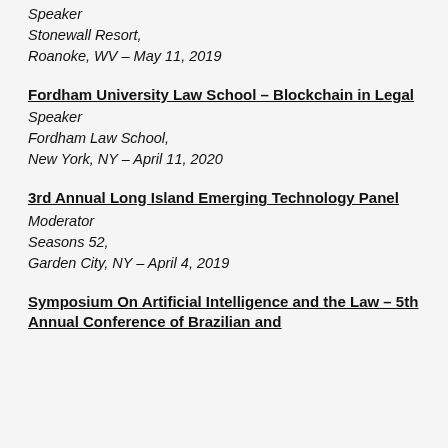Speaker
Stonewall Resort,
Roanoke, WV – May 11, 2019
Fordham University Law School – Blockchain in Legal
Speaker
Fordham Law School,
New York, NY – April 11, 2020
3rd Annual Long Island Emerging Technology Panel
Moderator
Seasons 52,
Garden City, NY – April 4, 2019
Symposium On Artificial Intelligence and the Law – 5th Annual Conference of Brazilian and